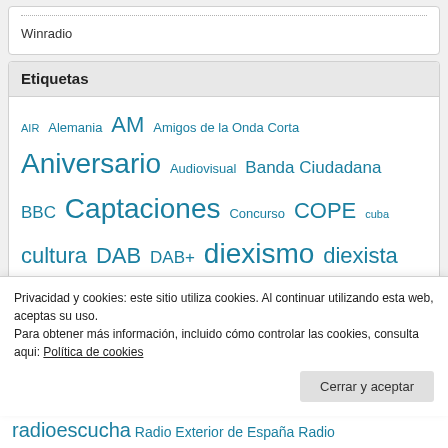Winradio
Etiquetas
AIR Alemania AM Amigos de la Onda Corta Aniversario Audiovisual Banda Ciudadana BBC Captaciones Concurso COPE cuba cultura DAB DAB+ diexismo diexista Digital Audio Broadcasting Digital Modes DRM DX DXer DXing Emisora Emisoras En Contacto EQSL Escucha Escuchas Feria FM Frecuencias From The Isle of Music
Privacidad y cookies: este sitio utiliza cookies. Al continuar utilizando esta web, aceptas su uso.
Para obtener más información, incluido cómo controlar las cookies, consulta aqui: Política de cookies
radioescucha Radio Exterior de España Radio